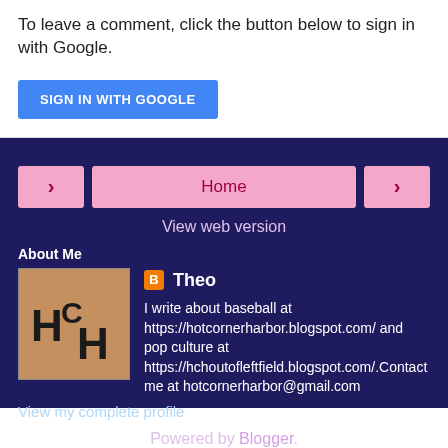To leave a comment, click the button below to sign in with Google.
[Figure (other): Blue 'SIGN IN WITH GOOGLE' button]
[Figure (other): Navigation row with back arrow, Home button, and forward arrow on dark blue background]
View web version
About Me
[Figure (photo): Profile photo showing HCH letters painted on brick wall]
Theo
I write about baseball at https://hotcornerharbor.blogspot.com/ and pop culture at https://hchoutofleftfield.blogspot.com/.Contact me at hotcornerharbor@gmail.com
View my complete profile
Powered by Blogger.